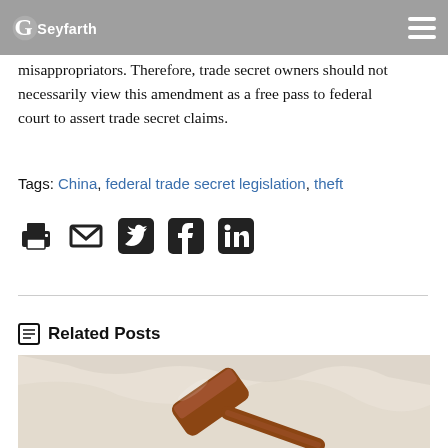Seyfarth
misappropriators. Therefore, trade secret owners should not necessarily view this amendment as a free pass to federal court to assert trade secret claims.
Tags: China, federal trade secret legislation, theft
[Figure (other): Social share icons: print, email, Twitter, Facebook, LinkedIn]
Related Posts
[Figure (photo): Photo of a wooden gavel on a marble surface]